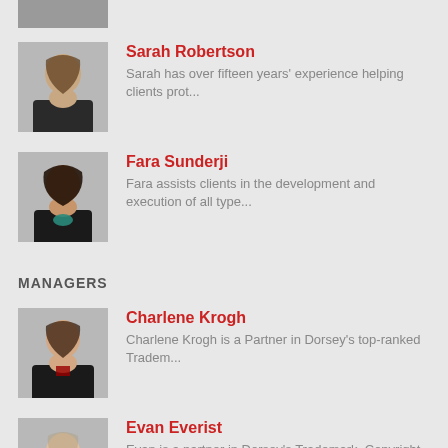[Figure (photo): Partial photo of a person at top of page (cropped)]
Sarah Robertson
Sarah has over fifteen years' experience helping clients prot...
Fara Sunderji
Fara assists clients in the development and execution of all type...
MANAGERS
Charlene Krogh
Charlene Krogh is a Partner in Dorsey's top-ranked Tradem...
Evan Everist
Evan is a partner in Dorsey's Trademark, Copyright and Adverti...